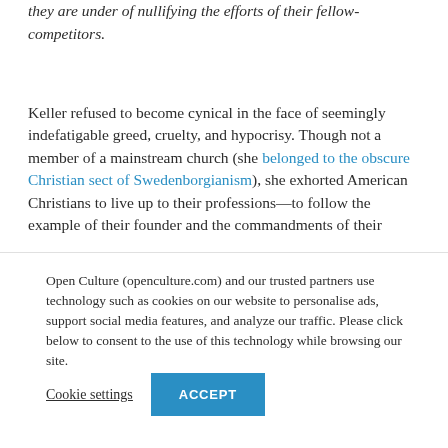they are under of nullifying the efforts of their fellow-competitors.
Keller refused to become cynical in the face of seemingly indefatigable greed, cruelty, and hypocrisy. Though not a member of a mainstream church (she belonged to the obscure Christian sect of Swedenborgianism), she exhorted American Christians to live up to their professions—to follow the example of their founder and the commandments of their
Open Culture (openculture.com) and our trusted partners use technology such as cookies on our website to personalise ads, support social media features, and analyze our traffic. Please click below to consent to the use of this technology while browsing our site.
Cookie settings
ACCEPT